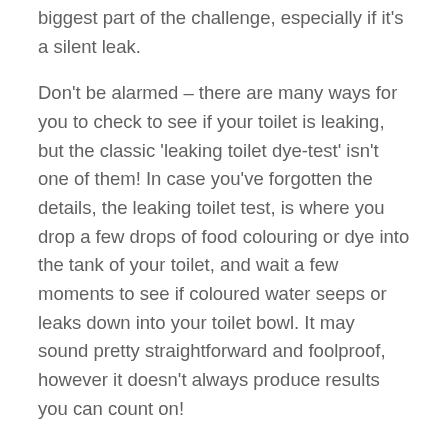biggest part of the challenge, especially if it's a silent leak.
Don't be alarmed – there are many ways for you to check to see if your toilet is leaking, but the classic 'leaking toilet dye-test' isn't one of them! In case you've forgotten the details, the leaking toilet test, is where you drop a few drops of food colouring or dye into the tank of your toilet, and wait a few moments to see if coloured water seeps or leaks down into your toilet bowl. It may sound pretty straightforward and foolproof, however it doesn't always produce results you can count on!
When performing the test, we often found the dye would still leak into the toilet bowl, but it wasn't necessarily